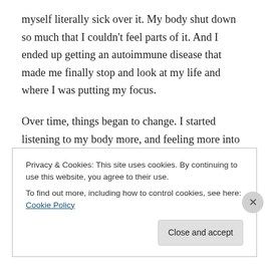myself literally sick over it. My body shut down so much that I couldn't feel parts of it. And I ended up getting an autoimmune disease that made me finally stop and look at my life and where I was putting my focus.
Over time, things began to change. I started listening to my body more, and feeling more into what were the things that really made me feel good. But there was still something missing. A bit part of me was holding back who I really was.
Privacy & Cookies: This site uses cookies. By continuing to use this website, you agree to their use.
To find out more, including how to control cookies, see here: Cookie Policy